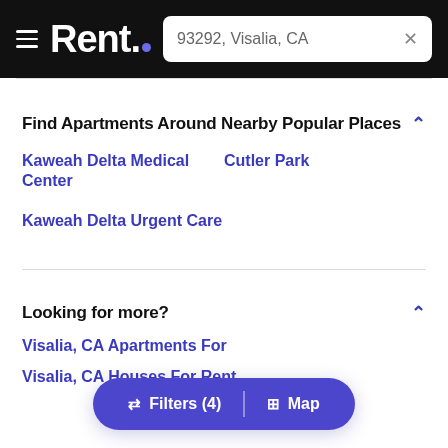Rent. — 93292, Visalia, CA
Find Apartments Around Nearby Popular Places
Kaweah Delta Medical Center
Cutler Park
Kaweah Delta Urgent Care
Looking for more?
Visalia, CA Apartments For
Visalia, CA Houses For Rent